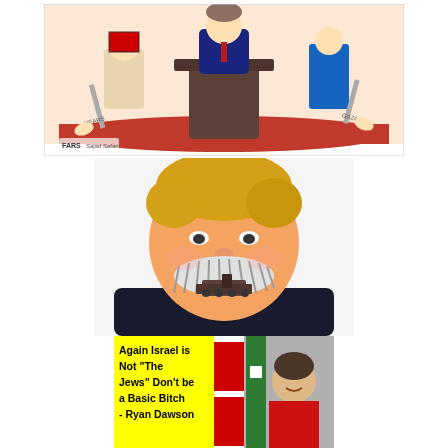[Figure (illustration): Political cartoon showing figures at a podium, with labels including 'YEARS', 'GAZA', and 'FARS' watermark at bottom left. Red and white background with cartoon characters.]
[Figure (illustration): Political cartoon caricature of a figure with exaggerated blonde hair, mustache styled to include a tank/gun, wearing a dark suit.]
[Figure (illustration): Image with yellow text overlay on left side reading: 'Again Israel is Not "The Jews" Don't be a Basic Bitch - Ryan Dawson', and a photo of a young man with flags in the background on the right side.]